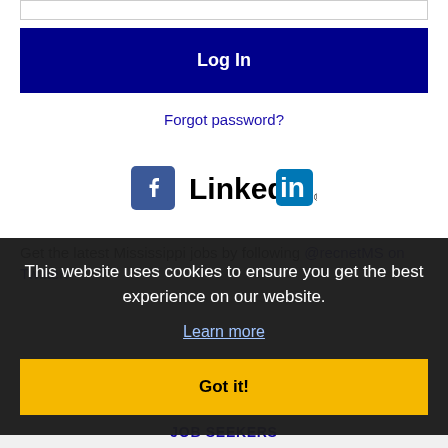[Figure (screenshot): Login button - dark navy blue rectangle with white 'Log In' text]
Forgot password?
[Figure (logo): Facebook logo icon and LinkedIn logo side by side]
Get the latest Mississippi jobs by following @recnetMS on Twitter!
This website uses cookies to ensure you get the best experience on our website.
Learn more
[Figure (screenshot): Got it! button - yellow rectangle with bold black text]
JOB SEEKERS